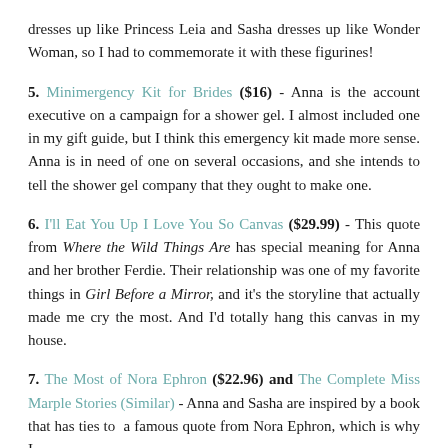dresses up like Princess Leia and Sasha dresses up like Wonder Woman, so I had to commemorate it with these figurines!
5. Minimergency Kit for Brides ($16) - Anna is the account executive on a campaign for a shower gel. I almost included one in my gift guide, but I think this emergency kit made more sense. Anna is in need of one on several occasions, and she intends to tell the shower gel company that they ought to make one.
6. I'll Eat You Up I Love You So Canvas ($29.99) - This quote from Where the Wild Things Are has special meaning for Anna and her brother Ferdie. Their relationship was one of my favorite things in Girl Before a Mirror, and it's the storyline that actually made me cry the most. And I'd totally hang this canvas in my house.
7. The Most of Nora Ephron ($22.96) and The Complete Miss Marple Stories (Similar) - Anna and Sasha are inspired by a book that has ties to a famous quote from Nora Ephron, which is why I